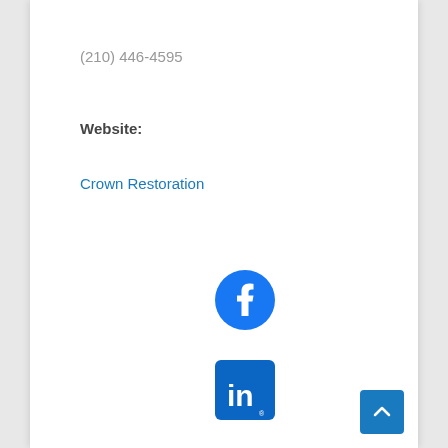(210) 446-4595
Website:
Crown Restoration
[Figure (logo): Facebook logo icon — blue circle with white 'f' letterform]
[Figure (logo): LinkedIn logo icon — blue rounded square with white 'in' text]
[Figure (other): Back to top button — blue rounded square with white upward chevron arrow]